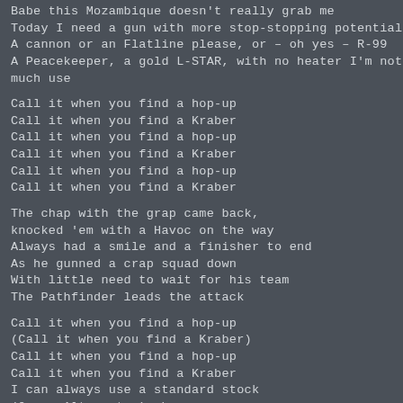Babe this Mozambique doesn't really grab me
Today I need a gun with more stop-stopping potential
A cannon or an Flatline please, or – oh yes – R-99
A Peacekeeper, a gold L-STAR, with no heater I'm not much use
Call it when you find a hop-up
Call it when you find a Kraber
Call it when you find a hop-up
Call it when you find a Kraber
Call it when you find a hop-up
Call it when you find a Kraber
The chap with the grap came back,
knocked 'em with a Havoc on the way
Always had a smile and a finisher to end
As he gunned a crap squad down
With little need to wait for his team
The Pathfinder leads the attack
Call it when you find a hop-up
(Call it when you find a Kraber)
Call it when you find a hop-up
Call it when you find a Kraber
I can always use a standard stock
(Or an Alternator) oh
Call it when you find a hop-up
(Call it when you find a Kraber)
Call it when you find a hop-up
(Call it when you find a Kraber)
I can always use a standard stock